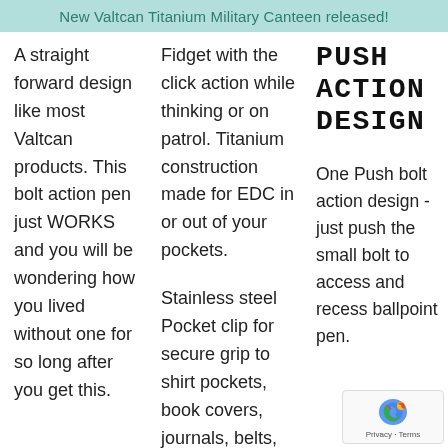New Valtcan Titanium Military Canteen released!
A straight forward design like most Valtcan products. This bolt action pen just WORKS and you will be wondering how you lived without one for so long after you get this.
Fidget with the click action while thinking or on patrol. Titanium construction made for EDC in or out of your pockets.
PUSH ACTION DESIGN
Stainless steel Pocket clip for secure grip to shirt pockets, book covers, journals, belts,
One Push bolt action design - just push the small bolt to access and recess ballpoint pen.